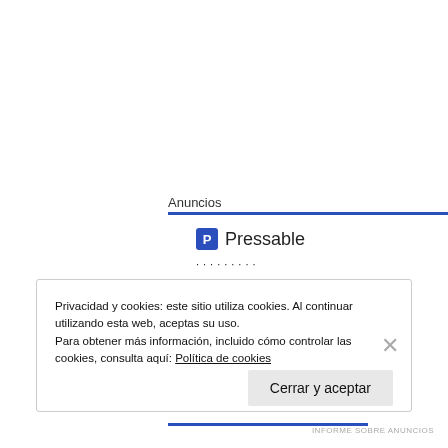Anuncios
Pressable
·········
The Platform Where WordPress Works Best
Privacidad y cookies: este sitio utiliza cookies. Al continuar utilizando esta web, aceptas su uso.
Para obtener más información, incluido cómo controlar las cookies, consulta aquí: Política de cookies
Cerrar y aceptar